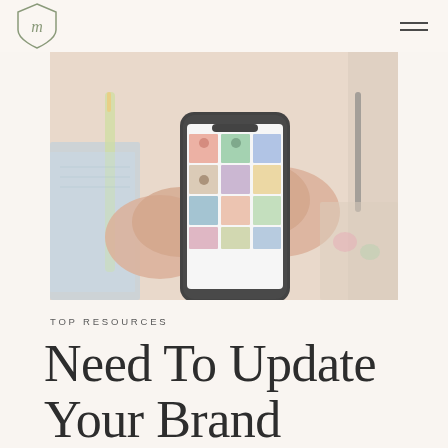[Figure (photo): Overhead view of two hands holding a smartphone displaying an Instagram-like photo grid, with notebooks and stationery visible on a desk below]
TOP RESOURCES
Need To Update Your Brand